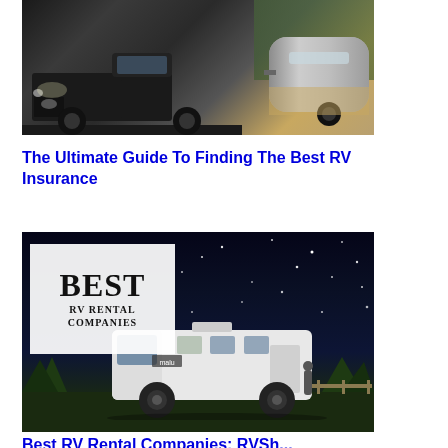[Figure (photo): A dark Ford F-150 pickup truck towing a silver Airstream trailer in a forested setting]
The Ultimate Guide To Finding The Best RV Insurance
[Figure (photo): Night scene showing a white motorhome/RV parked under a starry sky, with an overlaid text box reading 'BEST RV RENTAL COMPANIES']
Best RV Rental Companies: RVSh...